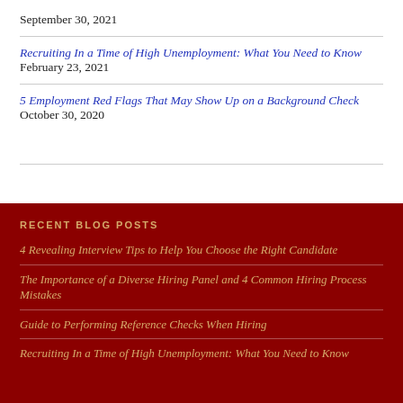September 30, 2021
Recruiting In a Time of High Unemployment: What You Need to Know February 23, 2021
5 Employment Red Flags That May Show Up on a Background Check October 30, 2020
RECENT BLOG POSTS
4 Revealing Interview Tips to Help You Choose the Right Candidate
The Importance of a Diverse Hiring Panel and 4 Common Hiring Process Mistakes
Guide to Performing Reference Checks When Hiring
Recruiting In a Time of High Unemployment: What You Need to Know